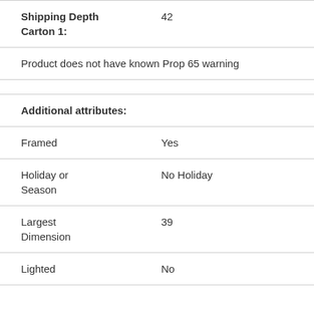| Shipping Depth Carton 1: | 42 |
| Product does not have known Prop 65 warning |  |
|  |  |
| Additional attributes: |  |
| Framed | Yes |
| Holiday or Season | No Holiday |
| Largest Dimension | 39 |
| Lighted | No |